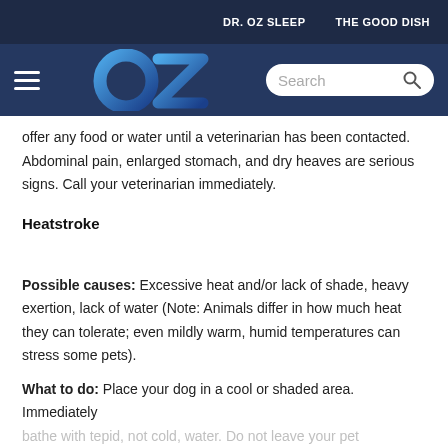DR. OZ SLEEP    THE GOOD DISH
offer any food or water until a veterinarian has been contacted. Abdominal pain, enlarged stomach, and dry heaves are serious signs. Call your veterinarian immediately.
Heatstroke
Possible causes: Excessive heat and/or lack of shade, heavy exertion, lack of water (Note: Animals differ in how much heat they can tolerate; even mildly warm, humid temperatures can stress some pets).
What to do: Place your dog in a cool or shaded area. Immediately bathe with tepid, not cold, water. Do not leave your pet unattended